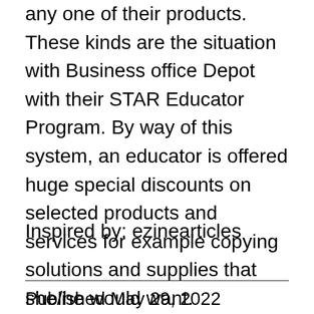any one of their products. These kinds are the situation with Business office Depot with their STAR Educator Program. By way of this system, an educator is offered huge special discounts on selected products and services for example copying solutions and supplies that she/he would want.
Inspired by: ezinearticles
Published May 29, 2022